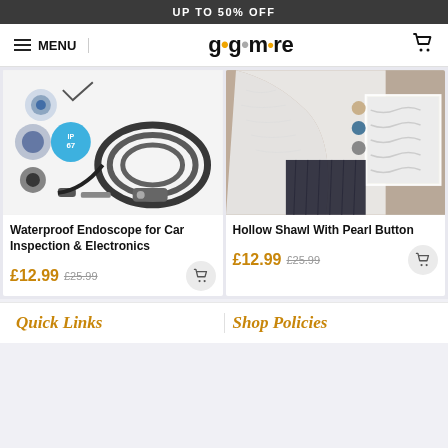UP TO 50% OFF
[Figure (screenshot): Navigation bar with hamburger menu, MENU text, gogomore logo, and cart icon]
[Figure (photo): Product image of waterproof endoscope with IP67 rating, showing camera, cable coil, and USB connectors]
Waterproof Endoscope for Car Inspection & Electronics
£12.99  £25.99
[Figure (photo): Product image of hollow knit shawl with pearl button, shown in white on model, with color swatches for beige, blue, and gray]
Hollow Shawl With Pearl Button
£12.99  £25.99
Quick Links
Shop Policies